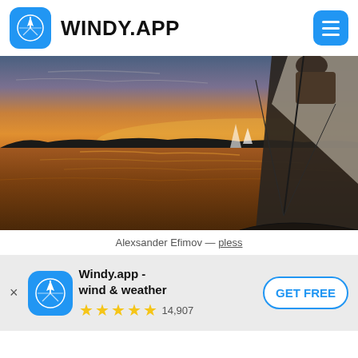[Figure (logo): Windy.app logo icon - blue rounded square with white wind rose compass symbol]
WINDY.APP
[Figure (photo): Sailing boat at sunset on calm water, view from the deck looking toward sail and golden-orange sky, silhouetted shoreline in background]
Alexsander Efimov — pless
[Figure (logo): Windy.app banner icon - blue rounded square with white wind rose compass symbol]
Windy.app - wind & weather
★★★★★ 14,907
GET FREE